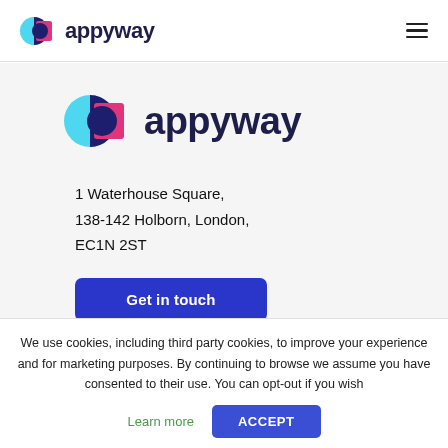[Figure (logo): Appyway logo in navigation bar — cyan circle with dark blue half-circle and pink/magenta square, with 'appyway' text in dark navy]
[Figure (logo): Appyway logo large — cyan circle with dark blue half-circle and pink/magenta square, with 'appyway' text in dark navy]
1 Waterhouse Square,
138-142 Holborn, London,
EC1N 2ST
Get in touch
We use cookies, including third party cookies, to improve your experience and for marketing purposes. By continuing to browse we assume you have consented to their use. You can opt-out if you wish
Learn more
ACCEPT